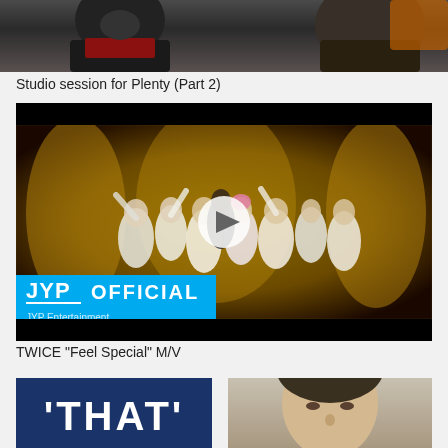[Figure (photo): Top cropped photo showing people in studio session]
Studio session for Plenty (Part 2)
[Figure (screenshot): YouTube video thumbnail for TWICE "Feel Special" M/V showing JYP Official branding and K-pop group dancers in white outfits on golden stage, with play button overlay]
TWICE "Feel Special" M/V
[Figure (photo): Bottom left: thumbnail with dark blue background and 'THAT' text in white bold letters]
[Figure (photo): Bottom right: cropped photo of a man's face from forehead to mid-face]